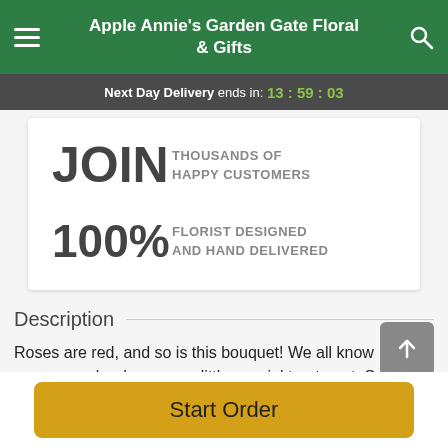Apple Annie's Garden Gate Floral & Gifts
Next Day Delivery ends in: 13 : 59 : 03
JOIN THOUSANDS OF HAPPY CUSTOMERS
100% FLORIST DESIGNED AND HAND DELIVERED
Description
Roses are red, and so is this bouquet! We all know someone who deserves a little special treatment. Send
Start Order